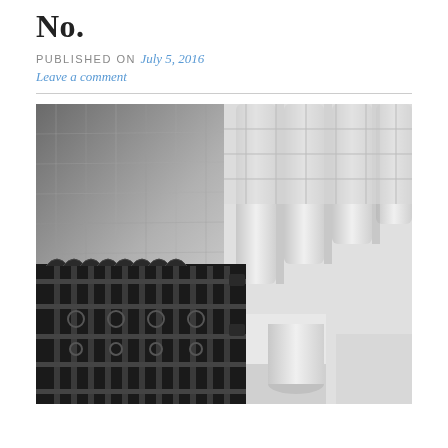No.
PUBLISHED ON July 5, 2016
Leave a comment
[Figure (photo): Black and white photograph taken from a low angle looking up at an ornate iron gate with decorative scrollwork and a building facade with geometric architectural details and cylindrical columns]